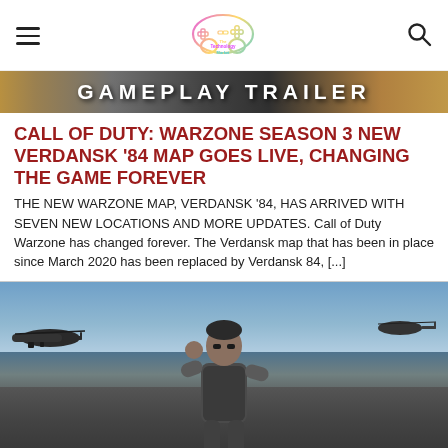The Technology Market
[Figure (screenshot): Gameplay Trailer banner image with text 'GAMEPLAY TRAILER' in bold white letters on a dark/golden background]
CALL OF DUTY: WARZONE SEASON 3 NEW VERDANSK '84 MAP GOES LIVE, CHANGING THE GAME FOREVER
THE NEW WARZONE MAP, VERDANSK '84, HAS ARRIVED WITH SEVEN NEW LOCATIONS AND MORE UPDATES. Call of Duty Warzone has changed forever. The Verdansk map that has been in place since March 2020 has been replaced by Verdansk 84, [...]
[Figure (screenshot): Call of Duty Warzone gameplay screenshot showing a soldier with military gear and helicopters in the background against a blue sky]